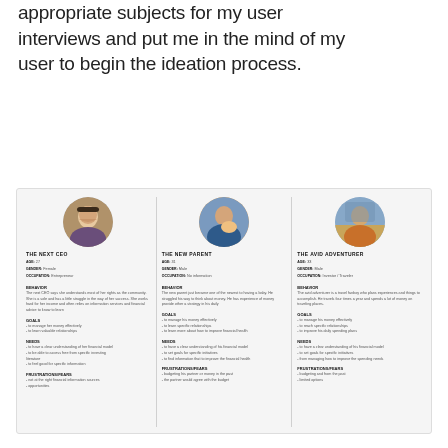appropriate subjects for my user interviews and put me in the mind of my user to begin the ideation process.
[Figure (infographic): Three user persona cards side by side: 'The Next CEO', 'The New Parent', 'The Avid Adventurer', each with a circular portrait photo, demographic info (age, gender, occupation), behavior description, goals, needs, and frustrations/notes.]